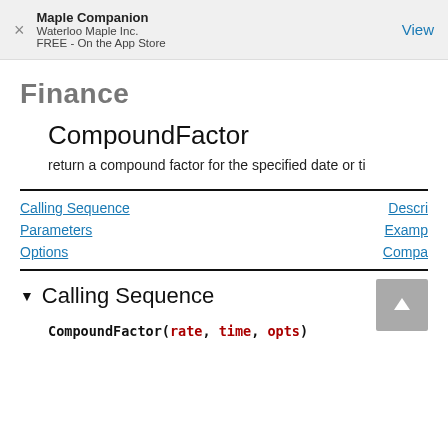Maple Companion
Waterloo Maple Inc.
FREE - On the App Store
Finance
CompoundFactor
return a compound factor for the specified date or ti
Calling Sequence | Description | Parameters | Examples | Options | Compa
Calling Sequence